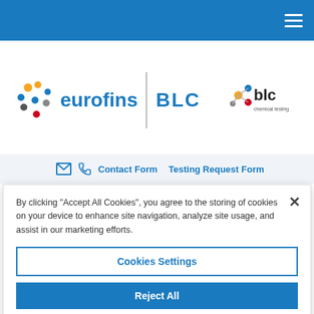[Figure (logo): Eurofins BLC Chemical Testing logo with navigation hamburger menu on blue top bar]
Contact Form   Testing Request Form
By clicking "Accept All Cookies", you agree to the storing of cookies on your device to enhance site navigation, analyze site usage, and assist in our marketing efforts.
Cookies Settings
Reject All
Accept All Cookies